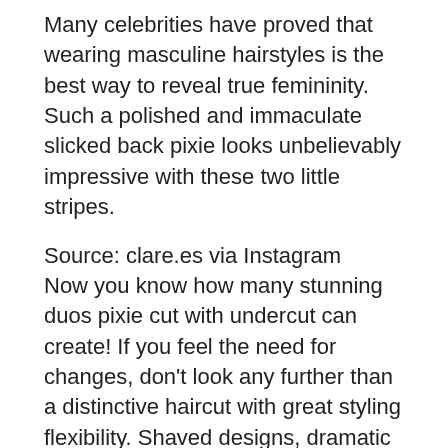Many celebrities have proved that wearing masculine hairstyles is the best way to reveal true femininity. Such a polished and immaculate slicked back pixie looks unbelievably impressive with these two little stripes.
Source: clare.es via Instagram
Now you know how many stunning duos pixie cut with undercut can create! If you feel the need for changes, don't look any further than a distinctive haircut with great styling flexibility. Shaved designs, dramatic bangs, sexy textures: they are here to make you look different!
FAQ: Undercut Pixie
Undercut pixie over 50. Is it ok?
Despite widespread belief, pixie haircuts for